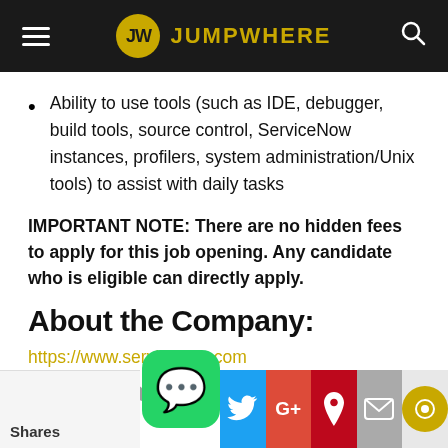JUMPWHERE
Ability to use tools (such as IDE, debugger, build tools, source control, ServiceNow instances, profilers, system administration/Unix tools) to assist with daily tasks
IMPORTANT NOTE: There are no hidden fees to apply for this job opening. Any candidate who is eligible can directly apply.
About the Company:
https://www.servicenow.com
How to apply?
Shares